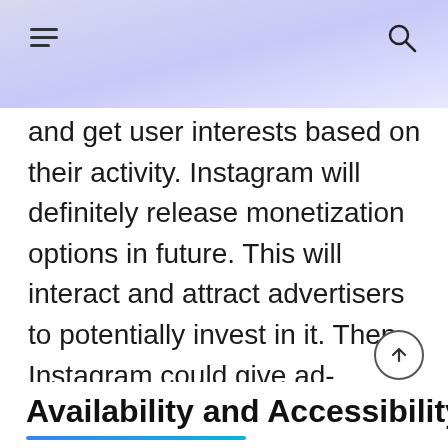and get user interests based on their activity. Instagram will definitely release monetization options in future. This will interact and attract advertisers to potentially invest in it. Then Instagram could give ad-revenues to the creators depends on their follower base. Facebook shareholders and e-Marketers will definitely invest in this platform within a few months.
Availability and Accessibility